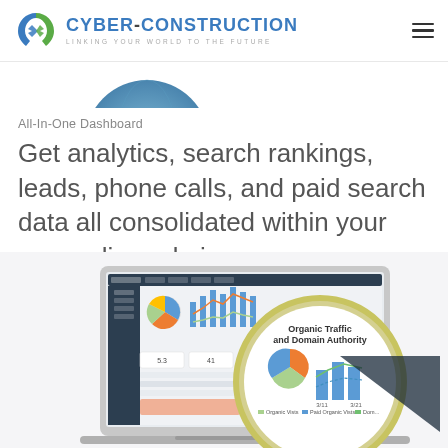[Figure (logo): Cyber-Construction logo with blue/green interlocked arrows and text 'CYBER-CONSTRUCTION LINKING YOUR WORLD TO THE FUTURE' plus hamburger menu icon]
[Figure (illustration): Partial globe illustration visible at top of page, cropped]
All-In-One Dashboard
Get analytics, search rankings, leads, phone calls, and paid search data all consolidated within your own online admin area.
[Figure (screenshot): Laptop screen showing analytics dashboard with bar charts, line charts, and pie chart showing metrics like 5.3, 41, 1,975, 254. Overlaid with a magnifying glass/circular zoom showing 'Organic Traffic and Domain Authority' with pie chart and bar/line chart.]